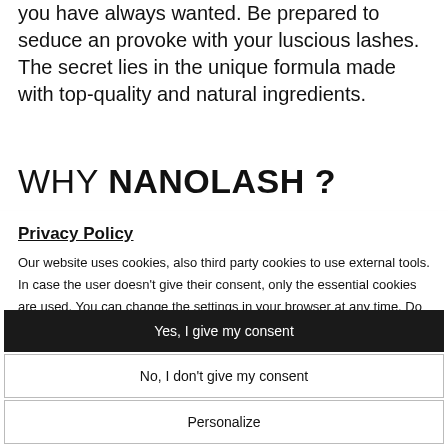you have always wanted. Be prepared to seduce an provoke with your luscious lashes. The secret lies in the unique formula made with top-quality and natural ingredients.
WHY NANOLASH ?
Privacy Policy
Our website uses cookies, also third party cookies to use external tools. In case the user doesn't give their consent, only the essential cookies are used. You can change the settings in your browser at any time. Do you give your consent to use all cookies?
Yes, I give my consent
No, I don't give my consent
Personalize